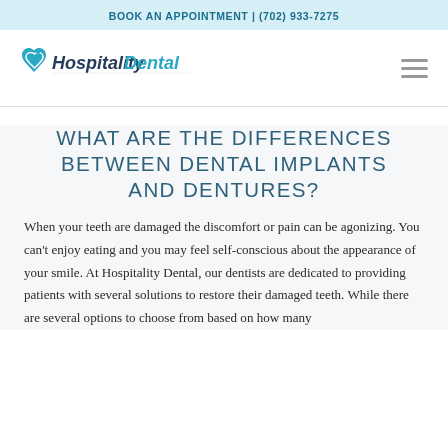BOOK AN APPOINTMENT | (702) 933-7275
[Figure (logo): Hospitality Dental logo with teal heart/tooth icon and bold text]
WHAT ARE THE DIFFERENCES BETWEEN DENTAL IMPLANTS AND DENTURES?
When your teeth are damaged the discomfort or pain can be agonizing. You can't enjoy eating and you may feel self-conscious about the appearance of your smile. At Hospitality Dental, our dentists are dedicated to providing patients with several solutions to restore their damaged teeth. While there are several options to choose from based on how many